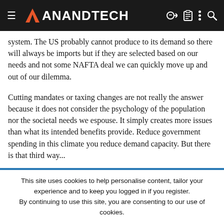AnandTech
system. The US probably cannot produce to its demand so there will always be imports but if they are selected based on our needs and not some NAFTA deal we can quickly move up and out of our dilemma.
Cutting mandates or taxing changes are not really the answer because it does not consider the psychology of the population nor the societal needs we espouse. It simply creates more issues than what its intended benefits provide. Reduce government spending in this climate you reduce demand capacity. But there is that third way...
Entities like our friends in Grand Britannia can no longer sate their needs from their Imperialistic endeavors... they sink or swim like the
This site uses cookies to help personalise content, tailor your experience and to keep you logged in if you register.
By continuing to use this site, you are consenting to our use of cookies.